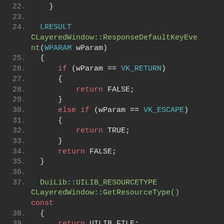Source code listing lines 22-39 showing CLayeredWindow::ResponseDefaultKeyEvent and GetResourceType methods in C++